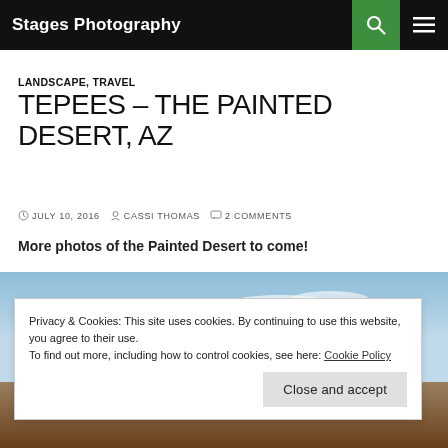Stages Photography
LANDSCAPE, TRAVEL
TEPEES – THE PAINTED DESERT, AZ
JULY 10, 2016   CASSI THOMAS   2 COMMENTS
More photos of the Painted Desert to come!
[Figure (photo): Partial view of the Painted Desert in Arizona, showing sky and desert landscape with tepee structures]
Privacy & Cookies: This site uses cookies. By continuing to use this website, you agree to their use.
To find out more, including how to control cookies, see here: Cookie Policy
Close and accept